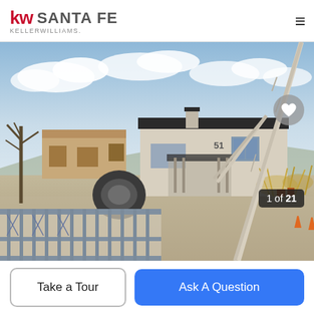KW SANTA FE — KELLER WILLIAMS.
[Figure (photo): Exterior photo of a Santa Fe style home with white stucco walls, dark flat roof, ornamental sculpture branches in the foreground, decorative iron fence, gravel driveway, and a large tire sculpture. Blue sky with clouds in background. Image counter '1 of 21' shown at bottom right.]
Take a Tour
Ask A Question